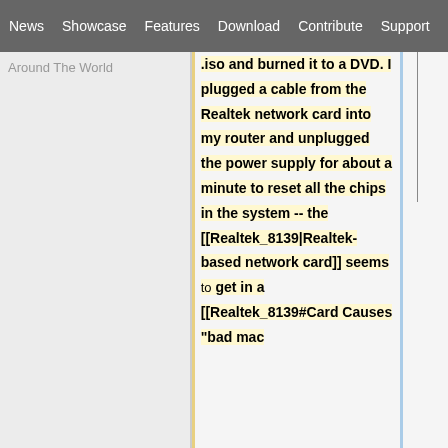News | Showcase | Features | Download | Contribute | Support
Around The World
.iso and burned it to a DVD.  I plugged a cable from the Realtek network card into my router and unplugged the power supply for about a minute to reset all the chips in the system -- the [[Realtek_8139|Realtek-based network card]] seems to get in a [[Realtek_8139#Card Causes "bad mac